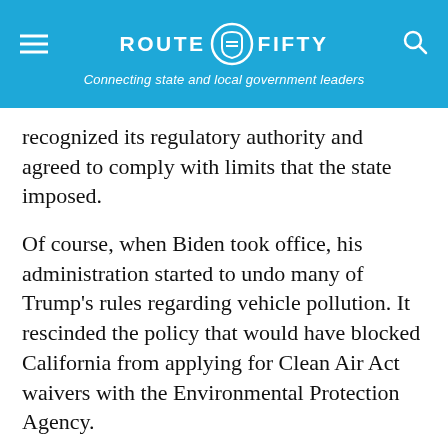ROUTE FIFTY — Connecting state and local government leaders
recognized its regulatory authority and agreed to comply with limits that the state imposed.
Of course, when Biden took office, his administration started to undo many of Trump's rules regarding vehicle pollution. It rescinded the policy that would have blocked California from applying for Clean Air Act waivers with the Environmental Protection Agency.
In December, the Biden administration also set stricter vehicle mileage standards for vehicles through model year 2026.